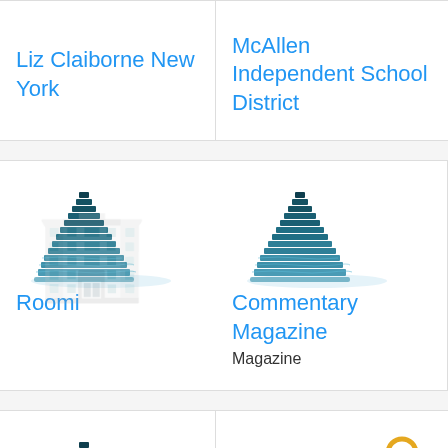Liz Claiborne New York
McAllen Independent School District
[Figure (logo): Generic building/company placeholder icon in blue teal]
Roomi
[Figure (logo): Generic building/company placeholder icon in blue teal]
Commentary Magazine
Magazine
[Figure (logo): Generic building/company placeholder icon in blue teal]
Evergreen Speech &
[Figure (logo): Sun Design logo with sun circle and text ARCHITECTURAL DESIGN BUILD FIRM]
Sun Design Remodeling
Company